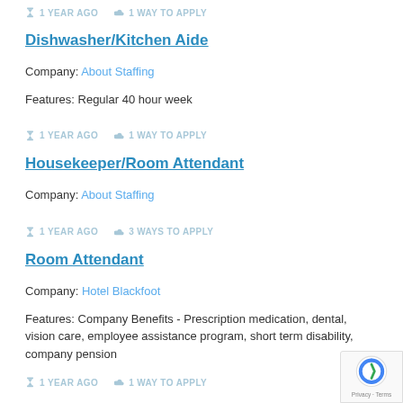1 YEAR AGO   1 WAY TO APPLY
Dishwasher/Kitchen Aide
Company: About Staffing
Features: Regular 40 hour week
1 YEAR AGO   1 WAY TO APPLY
Housekeeper/Room Attendant
Company: About Staffing
1 YEAR AGO   3 WAYS TO APPLY
Room Attendant
Company: Hotel Blackfoot
Features: Company Benefits - Prescription medication, dental, vision care, employee assistance program, short term disability, company pension
1 YEAR AGO   1 WAY TO APPLY
Room Attendant